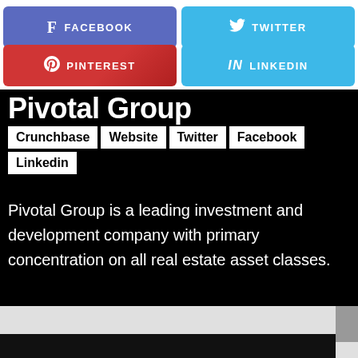[Figure (infographic): Social media share buttons: Facebook (purple-blue), Twitter (light blue), Pinterest (red), LinkedIn (light blue)]
Pivotal Group
Crunchbase  Website  Twitter  Facebook  Linkedin
Pivotal Group is a leading investment and development company with primary concentration on all real estate asset classes.